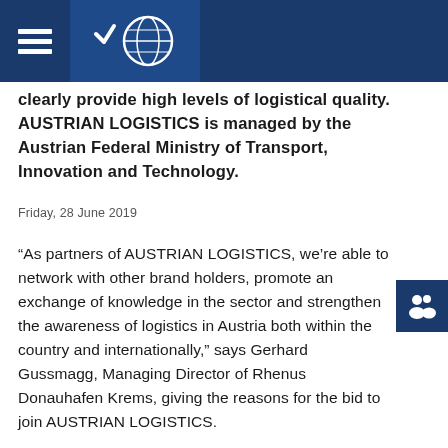Austrian Logistics website header with hamburger menu and globe icon
clearly provide high levels of logistical quality. AUSTRIAN LOGISTICS is managed by the Austrian Federal Ministry of Transport, Innovation and Technology.
Friday, 28 June 2019
“As partners of AUSTRIAN LOGISTICS, we’re able to network with other brand holders, promote an exchange of knowledge in the sector and strengthen the awareness of logistics in Austria both within the country and internationally,” says Gerhard Gussmagg, Managing Director of Rhenus Donauhafen Krems, giving the reasons for the bid to join AUSTRIAN LOGISTICS.